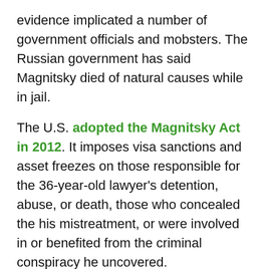evidence implicated a number of government officials and mobsters. The Russian government has said Magnitsky died of natural causes while in jail.
The U.S. adopted the Magnitsky Act in 2012. It imposes visa sanctions and asset freezes on those responsible for the 36-year-old lawyer's detention, abuse, or death, those who concealed the his mistreatment, or were involved in or benefited from the criminal conspiracy he uncovered.
In September last year, the DOJ filed a civil forfeiture action against the assets of nine companies that own real estate in Manhattan. The complaint named firms that allegedly laundered a portion of the $230 million stolen through the tax fraud that Magnitsky uncovered. The targeted property included four luxury residential